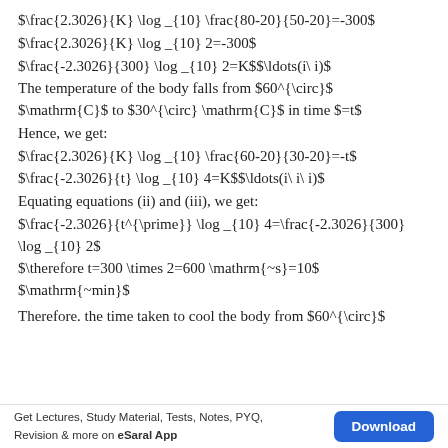The temperature of the body falls from $60^{\circ}\mathrm{C}$ to $30^{\circ}\mathrm{C}$ in time $=t$
Hence, we get:
Equating equations (ii) and (iii), we get:
Therefore. the time taken to cool the body from $60^{\circ}$
Get Lectures, Study Material, Tests, Notes, PYQ, Revision & more on eSaral App